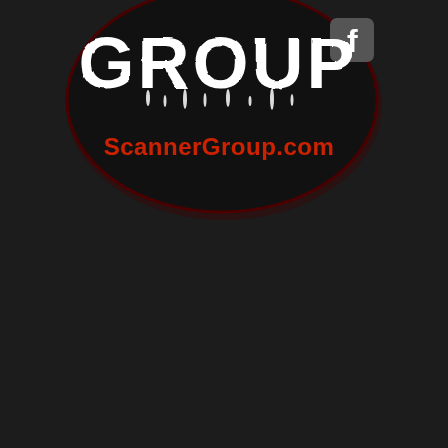[Figure (logo): Scanner Group logo: dark oval/ellipse shape with distressed white text 'GROUP' (partially cropped at top showing 'SCANNER' above), a Facebook icon in top-right of oval, and red URL text 'ScannerGroup.com' below the main text, all on a very dark/black background.]